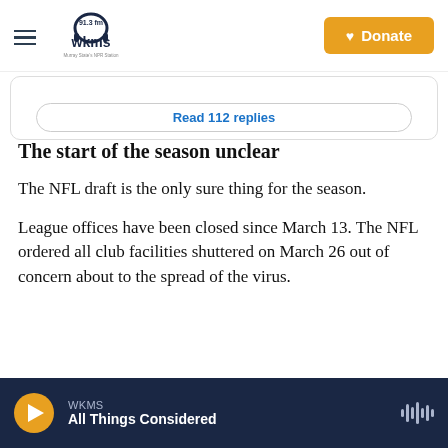WKMS 91.3 fm Murray State's NPR Station | Donate
[Figure (screenshot): Partial tweet embed with 'Read 112 replies' button]
The start of the season unclear
The NFL draft is the only sure thing for the season.
League offices have been closed since March 13. The NFL ordered all club facilities shuttered on March 26 out of concern about to the spread of the virus.
WKMS — All Things Considered (player bar)